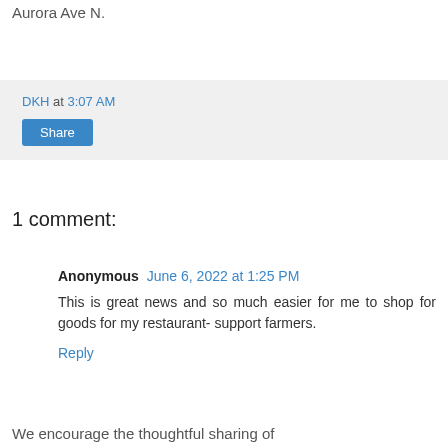Aurora Ave N.
DKH at 3:07 AM
Share
1 comment:
Anonymous June 6, 2022 at 1:25 PM
This is great news and so much easier for me to shop for goods for my restaurant- support farmers.
Reply
We encourage the thoughtful sharing of